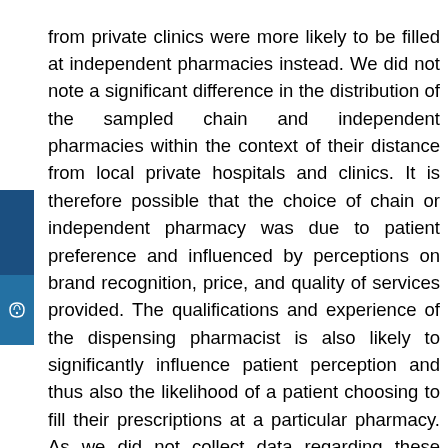from private clinics were more likely to be filled at independent pharmacies instead. We did not note a significant difference in the distribution of the sampled chain and independent pharmacies within the context of their distance from local private hospitals and clinics. It is therefore possible that the choice of chain or independent pharmacy was due to patient preference and influenced by perceptions on brand recognition, price, and quality of services provided. The qualifications and experience of the dispensing pharmacist is also likely to significantly influence patient perception and thus also the likelihood of a patient choosing to fill their prescriptions at a particular pharmacy. As we did not collect data regarding these influencing factors this